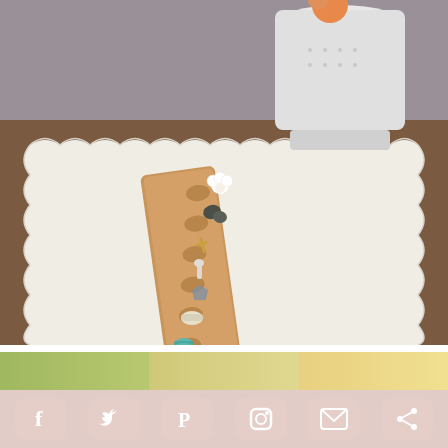[Figure (photo): A wooden countdown board with small symbolic objects placed in carved holes: a white flower, dark stones, a small cross, crystals, a tea candle, a teal spool, and a green leaf. The board sits on a white scallop-edged table runner on a wooden table. A white watering can or pitcher is visible in the upper background.]
THE ROAD TO EASTER: A HOLY WEEK COUTDOWN
AMAZON FINDS GIFT GUIDE
[Figure (photo): Social media sharing bar with Facebook, Twitter, Pinterest, Instagram, Email, and Share icons on a dusty rose/pink background]